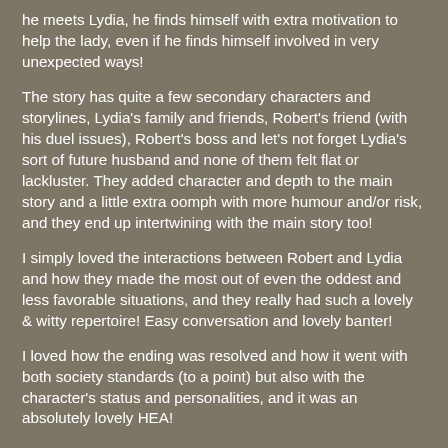he meets Lydia, he finds himself with extra motivation to help the lady, even if he finds himself involved in very unexpected ways!
The story has quite a few secondary characters and storylines, Lydia's family and friends, Robert's friend (with his duel issues), Robert's boss and let's not forget Lydia's sort of future husband and none of them felt flat or lackluster. They added character and depth to the main story and a little extra oomph with more humour and/or risk, and they end up intertwining with the main story too!
I simply loved the interactions between Robert and Lydia and how they made the most out of even the oddest and less favorable situations, and they really had such a lovely & witty repertoire! Easy conversation and lovely banter!
I loved how the ending was resolved and how it went with both society standards (to a point) but also with the character's status and personalities, and it was an absolutely lovely HEA!